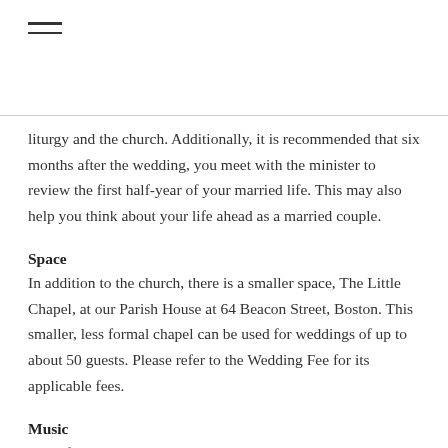[Figure (other): Hamburger menu icon (three horizontal lines)]
liturgy and the church. Additionally, it is recommended that six months after the wedding, you meet with the minister to review the first half-year of your married life. This may also help you think about your life ahead as a married couple.
Space
In addition to the church, there is a smaller space, The Little Chapel, at our Parish House at 64 Beacon Street, Boston. This smaller, less formal chapel can be used for weddings of up to about 50 guests. Please refer to the Wedding Fee for its applicable fees.
Music
One of the King's Chapel organists can be available to play at your wedding if you choose. **The King's Chapel Director of Music, Heinrich Christensen, must approve use of the organ by an outside organist.**Once you have selected an organist, you